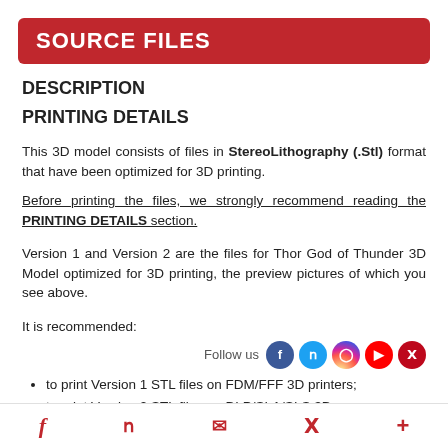SOURCE FILES
DESCRIPTION
PRINTING DETAILS
This 3D model consists of files in StereoLithography (.Stl) format that have been optimized for 3D printing.
Before printing the files, we strongly recommend reading the PRINTING DETAILS section.
Version 1 and Version 2 are the files for Thor God of Thunder 3D Model optimized for 3D printing, the preview pictures of which you see above.
It is recommended:
to print Version 1 STL files on FDM/FFF 3D printers;
to print Version 2 STL files on DLP/SLA/SLS 3D
f  y  [mail]  p  +